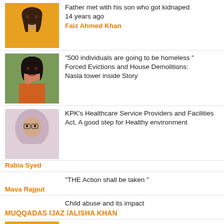Father met with his son who got kidnaped 14 years ago
Faiz Ahmed Khan
“500 individuals are going to be homeless” Forced Evictions and House Demolitions: Nasla tower inside Story
KPK’s Healthcare Service Providers and Facilities Act, A good step for Healthy environment
Rabia Syed
“THE Action shall be taken”
Mava Rajput
Child abuse and its impact
MUQQADAS IJAZ /ALISHA KHAN